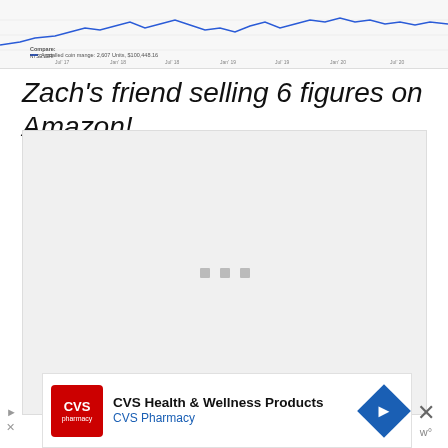[Figure (continuous-plot): Partial view of a stock or financial line chart showing price/data over time, with a legend at the bottom left indicating 'Compare: NYSE:LERI' and 'Anstalled coin mange: 2,607 Units, $100,448.16']
Zach's friend selling 6 figures on Amazon!
[Figure (screenshot): A large light gray placeholder/loading box with three small gray square dots centered in the middle, indicating an embedded video or media player that is loading]
[Figure (screenshot): Advertisement banner for CVS Health & Wellness Products / CVS Pharmacy with red CVS pharmacy logo, blue navigation arrow icon, and a close (X) button on the right]